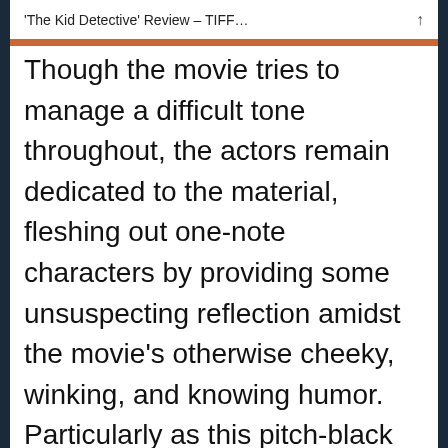'The Kid Detective' Review – TIFF…
Though the movie tries to manage a difficult tone throughout, the actors remain dedicated to the material, fleshing out one-note characters by providing some unsuspecting reflection amidst the movie's otherwise cheeky, winking, and knowing humor. Particularly as this pitch-black lark about arrested development settles into its adult themes, The Kid Detective surprises